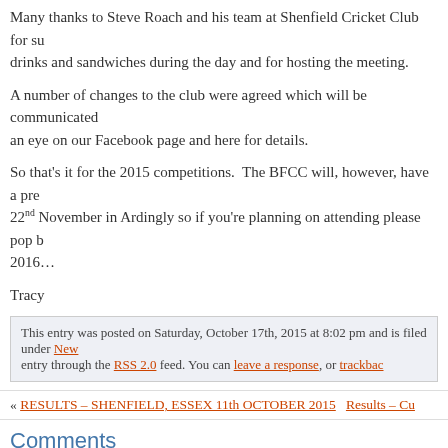Many thanks to Steve Roach and his team at Shenfield Cricket Club for su... drinks and sandwiches during the day and for hosting the meeting.
A number of changes to the club were agreed which will be communicated... an eye on our Facebook page and here for details.
So that's it for the 2015 competitions. The BFCC will, however, have a pre... 22nd November in Ardingly so if you're planning on attending please pop by... 2016…
Tracy
This entry was posted on Saturday, October 17th, 2015 at 8:02 pm and is filed under New... entry through the RSS 2.0 feed. You can leave a response, or trackbac...
« RESULTS – SHENFIELD, ESSEX 11th OCTOBER 2015   Results – Cu...
Comments
Got something to say?
Name (required)